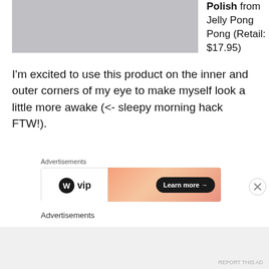[Figure (photo): Partial product photo — gray/silver surface visible at top of image, cropped]
Polish from Jelly Pong Pong (Retail: $17.95)
I'm excited to use this product on the inner and outer corners of my eye to make myself look a little more awake (<- sleepy morning hack FTW!).
Advertisements
[Figure (screenshot): WordPress VIP advertisement banner with 'Learn more →' button on gradient orange background]
Advertisements
REPORT THIS AD